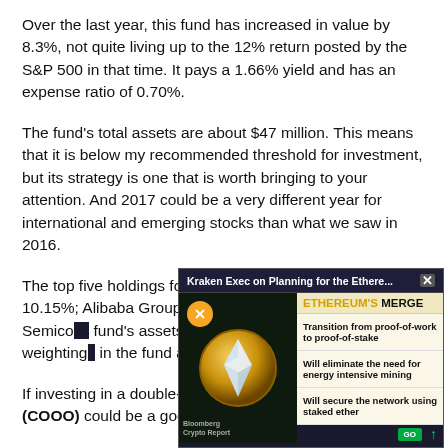Over the last year, this fund has increased in value by 8.3%, not quite living up to the 12% return posted by the S&P 500 in that time. It pays a 1.66% yield and has an expense ratio of 0.70%.
The fund's total assets are about $47 million. This means that it is below my recommended threshold for investment, but its strategy is one that is worth bringing to your attention. And 2017 could be a very different year for international and emerging stocks than what we saw in 2016.
The top five holdings for this fund are Tencent Holdings, 10.15%; Alibaba Group, [obscured]; Inc., 6.94%; and Semico[obscured] fund's assets are conce[obscured] its market-cap weighting[obscured] in the fund at any given[obscured]
If investing in a double-w[obscured] appeals to you, Guggen[obscured] (COOO) could be a goo[obscured]
[Figure (screenshot): A video popup overlay showing 'Kraken Exec on Planning for the Ethere...' with a Bloomberg Crypto Report segment about Ethereum's Merge, featuring: transition from proof-of-work to proof-of-stake, will eliminate the need for energy intensive mining, will secure the network using staked ether. Shows Ethereum coin graphic on dark background.]